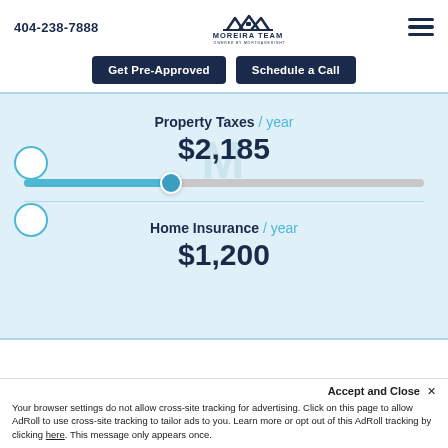404-238-7888 | MOREIRA TEAM POWERED BY MORTGAGERIGHT
Get Pre-Approved | Schedule a Call
Property Taxes /year $2,185
[Figure (infographic): Horizontal slider control showing a range input. The slider track is gray with a teal/blue filled portion on the left, ending with a circular thumb indicator roughly 35% along the track.]
Home Insurance /year $1,200
Accept and Close ✕
Your browser settings do not allow cross-site tracking for advertising. Click on this page to allow AdRoll to use cross-site tracking to tailor ads to you. Learn more or opt out of this AdRoll tracking by clicking here. This message only appears once.